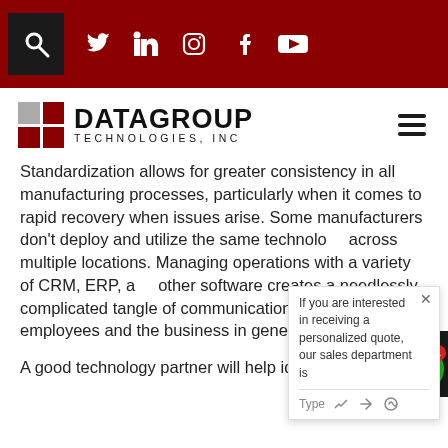Navigation bar with search icon and social media icons (Twitter, LinkedIn, Instagram, Facebook, YouTube) on dark red background
[Figure (logo): Datagroup Technologies, Inc logo with red/gray grid icon and bold text]
Standardization allows for greater consistency in all manufacturing processes, particularly when it comes to rapid recovery when issues arise. Some manufacturers don't deploy and utilize the same technology across multiple locations. Managing operations with a variety of CRM, ERP, and other software creates a needlessly complicated tangle of communications that hampers employees and the business in general.
A good technology partner will help identify